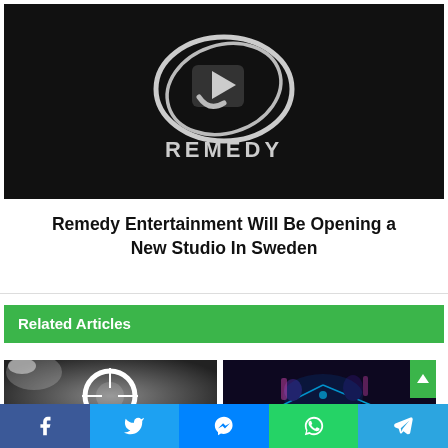[Figure (logo): Remedy Entertainment logo — white stylized R with circular arrow shapes on black background, with REMEDY text below]
Remedy Entertainment Will Be Opening a New Studio In Sweden
Related Articles
[Figure (photo): Left thumbnail: dark photo with circular target/scope graphic]
[Figure (photo): Right thumbnail: dark sci-fi scene with neon blue lines and characters in futuristic armor]